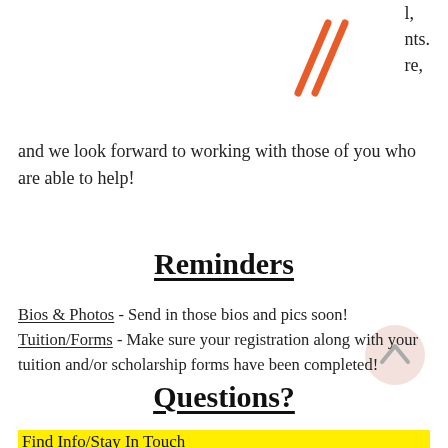l,
nts.
re,
and we look forward to working with those of you who are able to help!
[Figure (illustration): Orange diagonal decorative lines (hatching pattern)]
Reminders
Bios & Photos - Send in those bios and pics soon!
Tuition/Forms - Make sure your registration along with your tuition and/or scholarship forms have been completed!
Questions?
Find Info/Stay In Touch